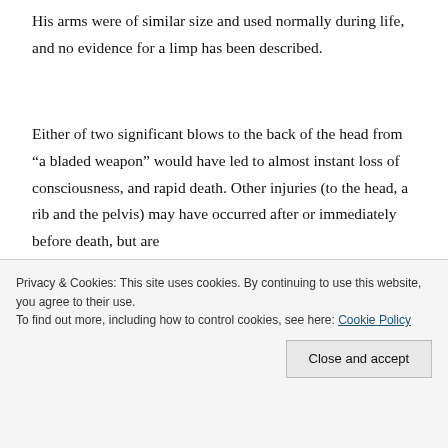His arms were of similar size and used normally during life, and no evidence for a limp has been described.
Either of two significant blows to the back of the head from “a bladed weapon” would have led to almost instant loss of consciousness, and rapid death. Other injuries (to the head, a rib and the pelvis) may have occurred after or immediately before death, but are
Privacy & Cookies: This site uses cookies. By continuing to use this website, you agree to their use.
To find out more, including how to control cookies, see here: Cookie Policy
Close and accept
Micro CII Professor Guy Rutty, (East Midlands